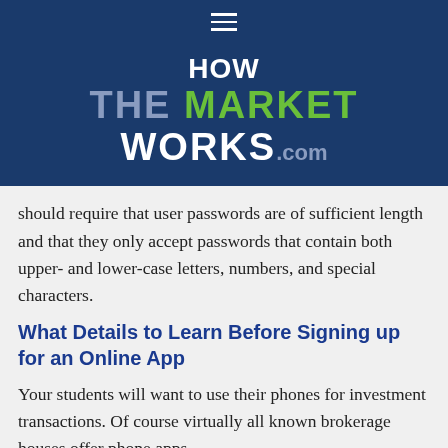HOW THE MARKET WORKS.com
should require that user passwords are of sufficient length and that they only accept passwords that contain both upper- and lower-case letters, numbers, and special characters.
What Details to Learn Before Signing up for an Online App
Your students will want to use their phones for investment transactions. Of course virtually all known brokerage houses offer phone apps,